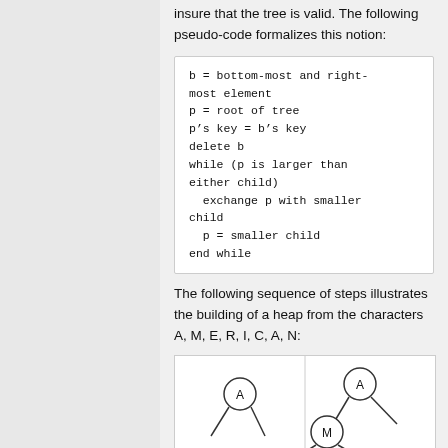insure that the tree is valid. The following pseudo-code formalizes this notion:
b = bottom-most and right-most element
p = root of tree
p’s key = b’s key
delete b
while (p is larger than either child)
  exchange p with smaller child
  p = smaller child
end while
The following sequence of steps illustrates the building of a heap from the characters A, M, E, R, I, C, A, N:
[Figure (illustration): Two tree diagrams showing heap building steps. Left: single node A. Right: node A with left child M and a branch.]